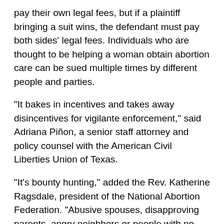pay their own legal fees, but if a plaintiff bringing a suit wins, the defendant must pay both sides' legal fees. Individuals who are thought to be helping a woman obtain abortion care can be sued multiple times by different people and parties.
“It bakes in incentives and takes away disincentives for vigilante enforcement,” said Adriana Piñon, a senior staff attorney and policy counsel with the American Civil Liberties Union of Texas.
“It’s bounty hunting,” added the Rev. Katherine Ragsdale, president of the National Abortion Federation. “Abusive spouses, disapproving parents, angry neighbors or people with no relation at all will all have a legal right to harass,” she said, before connecting it to a broader rise in extremism in recent years.